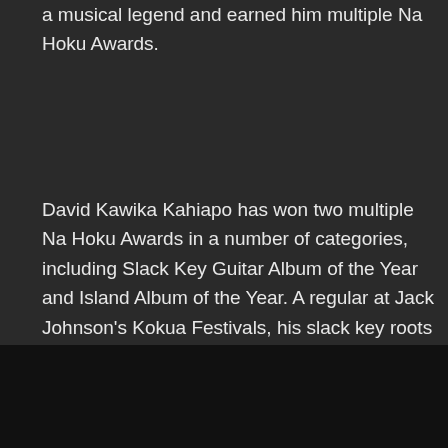a musical legend and earned him multiple Na Hoku Awards.
David Kawika Kahiapo has won two multiple Na Hoku Awards in a number of categories, including Slack Key Guitar Album of the Year and Island Album of the Year. A regular at Jack Johnson's Kokua Festivals, his slack key roots and commitment to Hawaiian culture run deep.